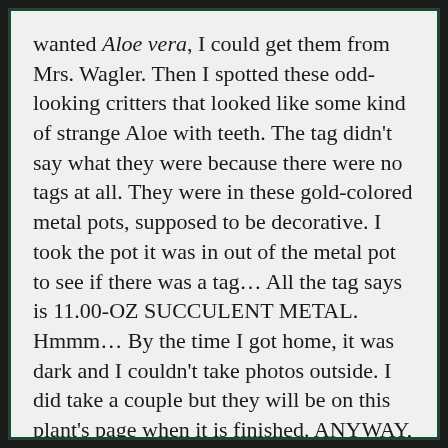wanted Aloe vera, I could get them from Mrs. Wagler. Then I spotted these odd-looking critters that looked like some kind of strange Aloe with teeth. The tag didn't say what they were because there were no tags at all. They were in these gold-colored metal pots, supposed to be decorative. I took the pot it was in out of the metal pot to see if there was a tag… All the tag says is 11.00-OZ SUCCULENT METAL. Hmmm… By the time I got home, it was dark and I couldn't take photos outside. I did take a couple but they will be on this plant's page when it is finished. ANYWAY, I put the photo I took on the Facebook group called Succulent